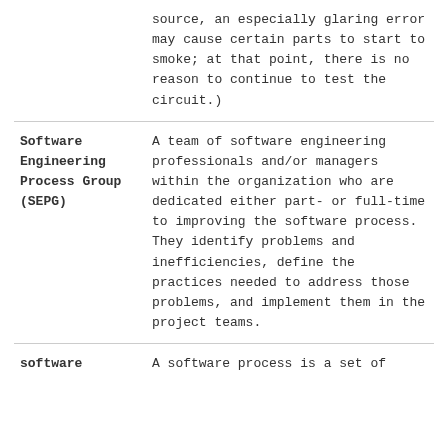| Term | Definition |
| --- | --- |
|  | source, an especially glaring error may cause certain parts to start to smoke; at that point, there is no reason to continue to test the circuit.) |
| Software Engineering Process Group (SEPG) | A team of software engineering professionals and/or managers within the organization who are dedicated either part- or full-time to improving the software process. They identify problems and inefficiencies, define the practices needed to address those problems, and implement them in the project teams. |
| software | A software process is a set of |